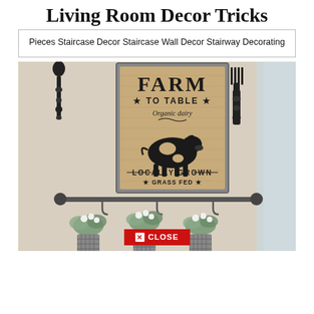Living Room Decor Tricks
Pieces Staircase Decor Staircase Wall Decor Stairway Decorating
[Figure (photo): Farmhouse wall decor featuring a burlap 'Farm to Table Organic Dairy' sign in a grey wood frame, flanked by large black decorative spoon and fork wall art, with a metal rod holding three hanging birch bucket planters filled with faux greenery and cotton bolls below. A red 'X CLOSE' button overlay is at the bottom center.]